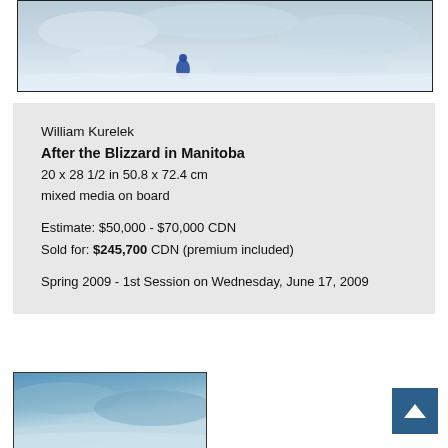[Figure (photo): Partial view of a painting showing a winter/blizzard scene with blue figure and white snowy landscape]
William Kurelek
After the Blizzard in Manitoba
20 x 28 1/2 in 50.8 x 72.4 cm
mixed media on board

Estimate: $50,000 - $70,000 CDN
Sold for: $245,700 CDN (premium included)

Spring 2009 - 1st Session on Wednesday, June 17, 2009
[Figure (photo): Partial view of a blue and white sky/landscape painting]